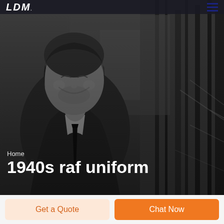LDM
[Figure (photo): Grayscale photo of a smiling man in a suit and tie, with blurred urban background. Used as a hero banner image.]
Home
1940s raf uniform
Get a Quote
Chat Now